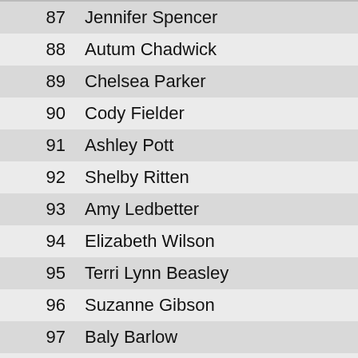| Place | Name | City |
| --- | --- | --- |
| 87 | Jennifer Spencer |  |
| 88 | Autum Chadwick |  |
| 89 | Chelsea Parker |  |
| 90 | Cody Fielder |  |
| 91 | Ashley Pott |  |
| 92 | Shelby Ritten |  |
| 93 | Amy Ledbetter |  |
| 94 | Elizabeth Wilson |  |
| 95 | Terri Lynn Beasley |  |
| 96 | Suzanne Gibson |  |
| 97 | Baly Barlow |  |
| 98 | Amy Smith |  |
| 99 | Ryan Smith |  |
| 100 | Kathy Klick |  |
| Place | Name | City |
| --- | --- | --- |
| 101 | Kimberly White |  |